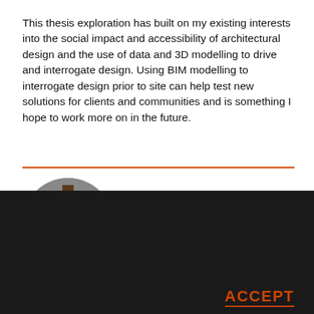This thesis exploration has built on my existing interests into the social impact and accessibility of architectural design and the use of data and 3D modelling to drive and interrogate design. Using BIM modelling to interrogate design prior to site can help test new solutions for clients and communities and is something I hope to work more on in the future.
[Figure (photo): Circular profile photo showing an architectural interior with a complex multi-story atrium structure]
We use cookies on this site to enhance your user experience. By clicking the Accept button, you agree to us doing so.
ACCEPT